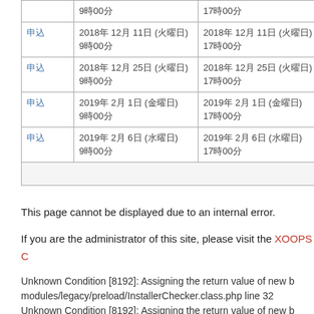|  | 開始日時 | 終了日時 |
| --- | --- | --- |
|  | 9時00分 | 17時00分 |
| 申込 | 2018年 12月 11日 (火曜日)
9時00分 | 2018年 12月 11日 (火曜日)
17時00分 |
| 申込 | 2018年 12月 25日 (火曜日)
9時00分 | 2018年 12月 25日 (火曜日)
17時00分 |
| 申込 | 2019年 2月 1日 (金曜日)
9時00分 | 2019年 2月 1日 (金曜日)
17時00分 |
| 申込 | 2019年 2月 6日 (水曜日)
9時00分 | 2019年 2月 6日 (水曜日)
17時00分 |
|  |  |  |
This page cannot be displayed due to an internal error.
If you are the administrator of this site, please visit the XOOPS C
Unknown Condition [8192]: Assigning the return value of new b modules/legacy/preload/InstallerChecker.class.php line 32
Unknown Condition [8192]: Assigning the return value of new b modules/legacy/preload/ThemeSelect.class.php line 32
Unknown Condition [8192]: Assigning the return value of new b